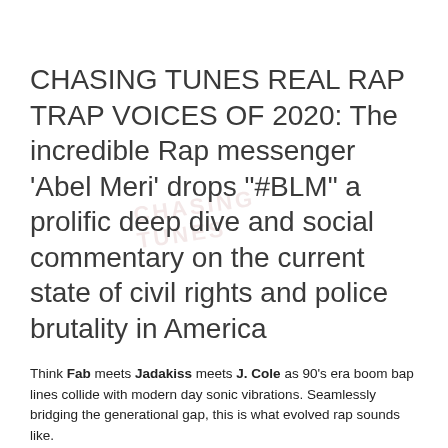CHASING TUNES REAL RAP TRAP VOICES OF 2020: The incredible Rap messenger 'Abel Meri' drops "#BLM" a prolific deep dive and social commentary on the current state of civil rights and police brutality in America
Think Fab meets Jadakiss meets J. Cole as 90's era boom bap lines collide with modern day sonic vibrations. Seamlessly bridging the generational gap, this is what evolved rap sounds like.
Abel is an Ethiopian born and DMV bred recording artist